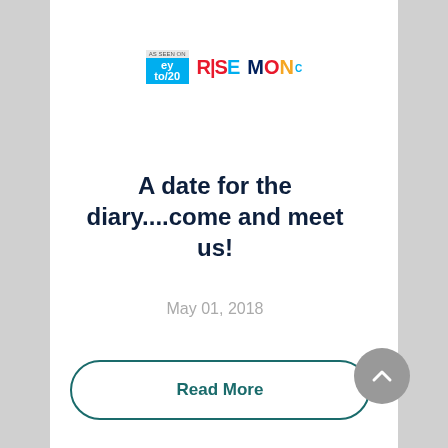[Figure (logo): Three logos: 'hey' stylized brand logo in blue/grey, 'RISE' in red with teal letters, and 'MON' in navy/red/orange with small 'C' in teal]
A date for the diary....come and meet us!
May 01, 2018
Read More